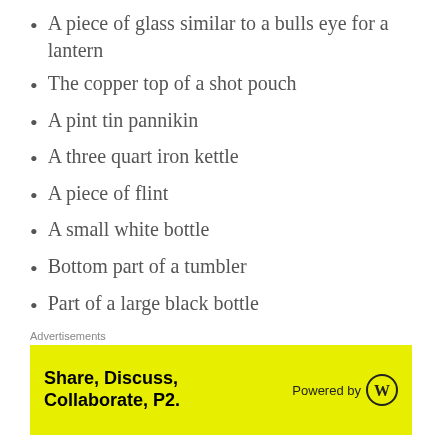A piece of glass similar to a bulls eye for a lantern
The copper top of a shot pouch
A pint tin pannikin
A three quart iron kettle
A piece of flint
A small white bottle
Bottom part of a tumbler
Part of a large black bottle
A seven pointed star brooch
A piece of clothing much like blue flannel
A piece of red ochre
A little rock brimstone, and
Advertisements
[Figure (other): Advertisement banner with yellow background. Text reads: Share, Discuss, Collaborate, P2. Powered by WordPress logo.]